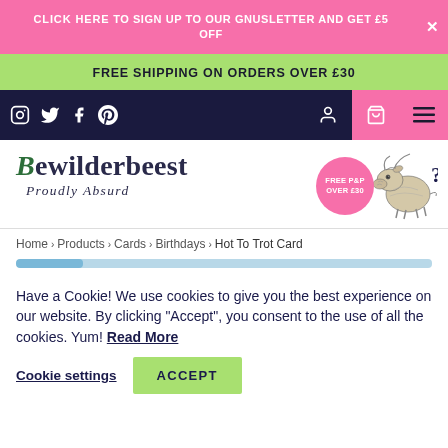CLICK HERE TO SIGN UP TO OUR GNUSLETTER AND GET £5 OFF
FREE SHIPPING ON ORDERS OVER £30
Navigation bar with social icons and menu
Bewilderbeest Proudly Absurd
Home > Products > Cards > Birthdays > Hot To Trot Card
Have a Cookie! We use cookies to give you the best experience on our website. By clicking "Accept", you consent to the use of all the cookies. Yum! Read More
Cookie settings   ACCEPT